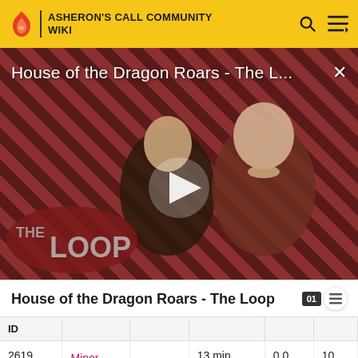ASHERON'S CALL COMMUNITY WIKI
[Figure (screenshot): Video thumbnail for 'House of the Dragon Roars - The L...' with a play button in the center. Shows two characters against a striped red-black background. 'THE LOOP' text visible in bottom left.]
House of the Dragon Roars - The Loop
| ID |  |  |  |  |  |
| --- | --- | --- | --- | --- | --- |
| 2619 | Minor Frost Ward | [icon] | 13 min | 0.0 | 10 |